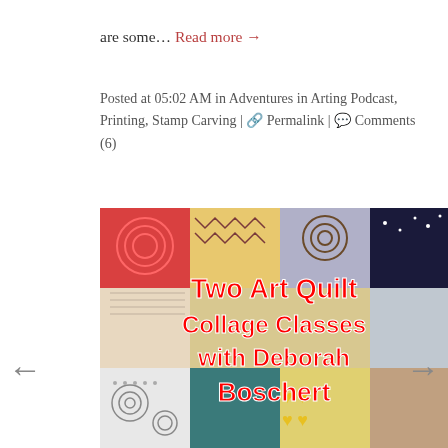are some... Read more →
Posted at 05:02 AM in Adventures in Arting Podcast, Printing, Stamp Carving | 🔗 Permalink | 💬 Comments (6)
[Figure (illustration): Colorful art quilt collage image with bold red text overlay reading 'Two Art Quilt Collage Classes with Deborah Boschert']